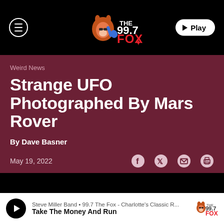[Figure (logo): 99.7 The Fox radio station logo with cartoon fox playing guitar, on black navigation bar]
Weird News
Strange UFO Photographed By Mars Rover
By Dave Basner
May 19, 2022
Steve Miller Band • 99.7 The Fox - Charlotte's Classic R... Take The Money And Run